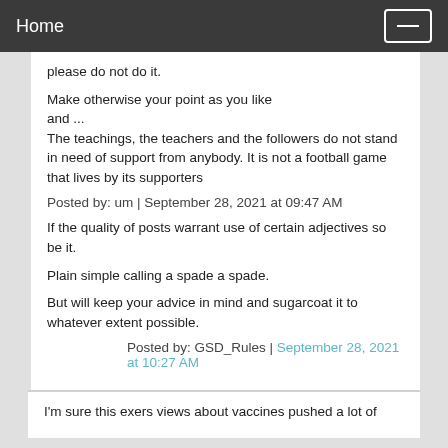Home
please do not do it.
Make otherwise your point as you like and ...
The teachings, the teachers and the followers do not stand in need of support from anybody. It is not a football game that lives by its supporters
Posted by: um | September 28, 2021 at 09:47 AM
If the quality of posts warrant use of certain adjectives so be it.
Plain simple calling a spade a spade.
But will keep your advice in mind and sugarcoat it to whatever extent possible.
Posted by: GSD_Rules | September 28, 2021 at 10:27 AM
I'm sure this exers views about vaccines pushed a lot of